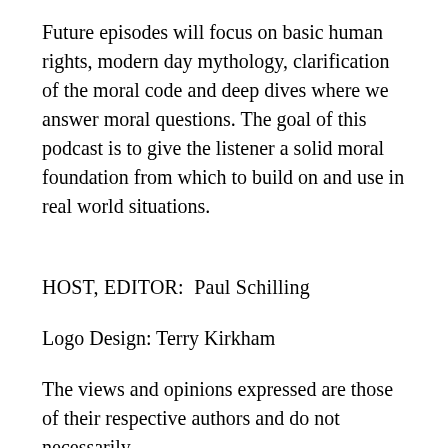Future episodes will focus on basic human rights, modern day mythology, clarification of the moral code and deep dives where we answer moral questions. The goal of this podcast is to give the listener a solid moral foundation from which to build on and use in real world situations.
HOST, EDITOR:  Paul Schilling
Logo Design: Terry Kirkham
The views and opinions expressed are those of their respective authors and do not necessarily